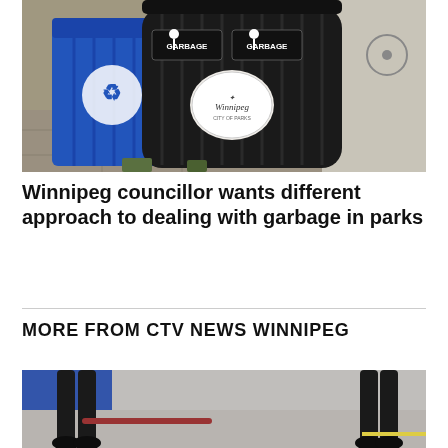[Figure (photo): Outdoor garbage and recycling bins on a sidewalk — a blue recycling container on the left and a black cylindrical garbage bin with 'GARBAGE' labels and a Winnipeg city logo sticker on the right.]
Winnipeg councillor wants different approach to dealing with garbage in parks
MORE FROM CTV NEWS WINNIPEG
[Figure (photo): Partial view of people's legs and feet standing on a hard floor in what appears to be an indoor venue with blue and grey tones.]